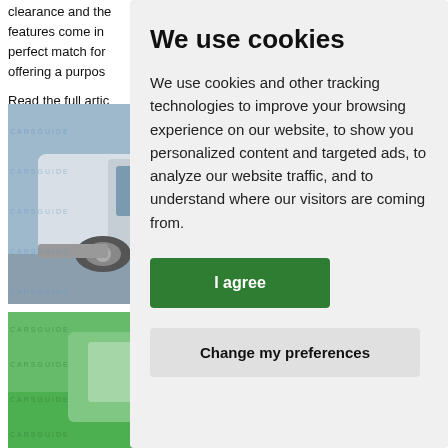clearance and the features come in perfect match for offering a purpos
Read the full artic https://www.carsc
[Figure (photo): Partial view of a white/silver electric van or cargo vehicle against a blue-grey background, with watermark text overlaid]
[Figure (photo): Partial view of a green vehicle or object against a green background, with watermark text overlaid]
We use cookies
We use cookies and other tracking technologies to improve your browsing experience on our website, to show you personalized content and targeted ads, to analyze our website traffic, and to understand where our visitors are coming from.
I agree
Change my preferences